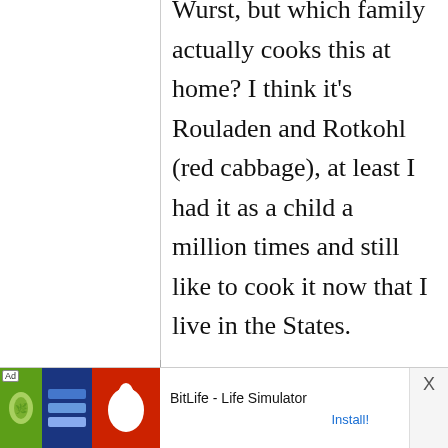Wurst, but which family actually cooks this at home? I think it's Rouladen and Rotkohl (red cabbage), at least I had it as a child a million times and still like to cook it now that I live in the States.
Ameirah
[Figure (other): Advertisement banner for BitLife - Life Simulator app with green, blue, and red icon sections and Install button]